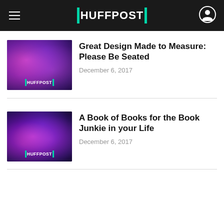HUFFPOST
Great Design Made to Measure: Please Be Seated
December 6, 2017
A Book of Books for the Book Junkie in your Life
December 6, 2017